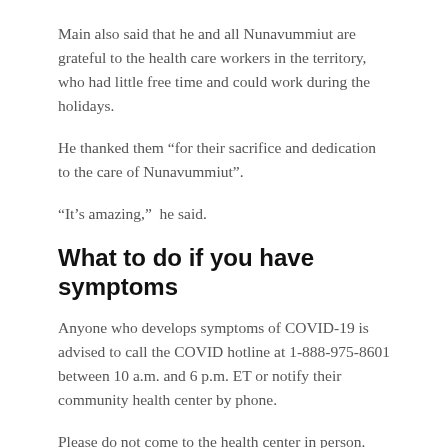Main also said that he and all Nunavummiut are grateful to the health care workers in the territory, who had little free time and could work during the holidays.
He thanked them “for their sacrifice and dedication to the care of Nunavummiut”.
“It’s amazing,” he said.
What to do if you have symptoms
Anyone who develops symptoms of COVID-19 is advised to call the COVID hotline at 1-888-975-8601 between 10 a.m. and 6 p.m. ET or notify their community health center by phone.
Please do not come to the health center in person.
COVID-19 vaccines are available for all Nunavummiut aged 5 and